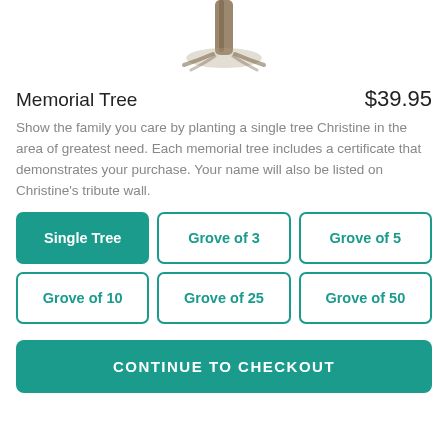[Figure (illustration): Lower trunk and roots of a tree, pencil sketch style drawing, centered at top of page]
Memorial Tree
$39.95
Show the family you care by planting a single tree Christine in the area of greatest need. Each memorial tree includes a certificate that demonstrates your purchase. Your name will also be listed on Christine's tribute wall.
Single Tree
Grove of 3
Grove of 5
Grove of 10
Grove of 25
Grove of 50
CONTINUE TO CHECKOUT